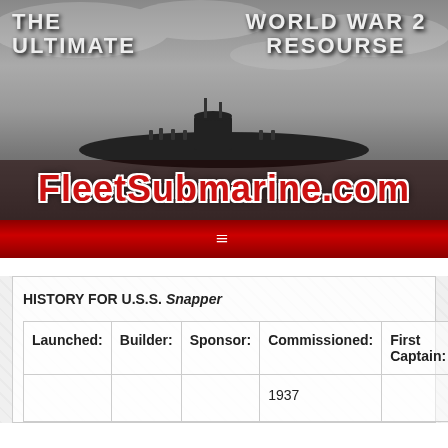[Figure (screenshot): Website header for FleetSubmarine.com showing a black and white submarine photograph with the text 'THE ULTIMATE WORLD WAR 2 RESOURSE' and the site name 'FleetSubmarine.com' in red bold letters]
HISTORY FOR U.S.S. Snapper
| Launched: | Builder: | Sponsor: | Commissioned: | First Captain: |
| --- | --- | --- | --- | --- |
|  |  |  | 1937 |  |